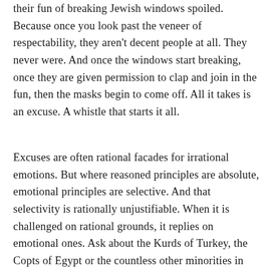their fun of breaking Jewish windows spoiled. Because once you look past the veneer of respectability, they aren't decent people at all. They never were. And once the windows start breaking, once they are given permission to clap and join in the fun, then the masks begin to come off. All it takes is an excuse. A whistle that starts it all.
Excuses are often rational facades for irrational emotions. But where reasoned principles are absolute, emotional principles are selective. And that selectivity is rationally unjustifiable. When it is challenged on rational grounds, it replies on emotional ones. Ask about the Kurds of Turkey, the Copts of Egypt or the countless other minorities in the region deprived of civil rights on an elementary level that is unimaginable in Israel, and you will get photos of smiling or mutilated children in Gaza thrust at you. Because there is nothing